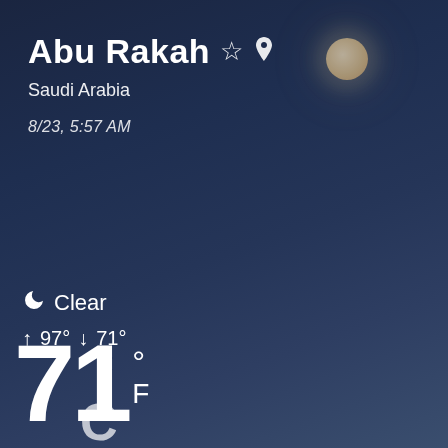[Figure (screenshot): Weather app screenshot showing Abu Rakah, Saudi Arabia with clear night sky background, moon visible, temperature 71°F, high 97° low 71°, clear conditions]
Abu Rakah ☆ 📍
Saudi Arabia
8/23, 5:57 AM
🌙 Clear
↑ 97° ↓ 71°
71 °F